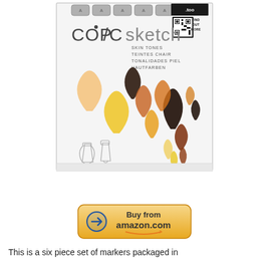[Figure (photo): Copic Sketch Skin Tones marker set packaging showing 6 markers in gray cylindrical containers and colorful teardrop-shaped ink swatches in skin tone colors (peach, yellow, orange, brown, dark brown) on white packaging.]
[Figure (illustration): Buy from amazon.com button — rounded rectangle button with Amazon logo arrow and text 'Buy from amazon.com']
This is a six piece set of markers packaged in